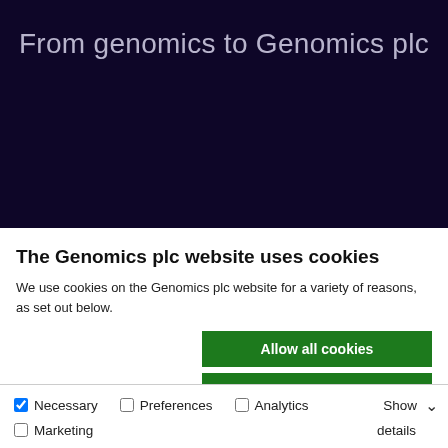From genomics to Genomics plc
The Genomics plc website uses cookies
We use cookies on the Genomics plc website for a variety of reasons, as set out below.
Allow all cookies
Allow selection
Use necessary cookies only
Necessary   Preferences   Analytics   Marketing   Show details